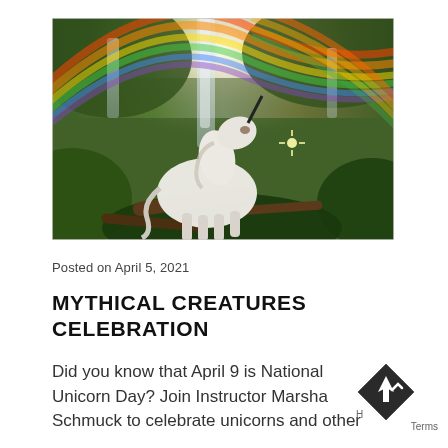[Figure (photo): A white unicorn with a dark horn stands in a lush forest scene with waterfalls and dramatic rainbow light arcing overhead. The scene has a fantasy/magical atmosphere with green vegetation, fallen logs, and misty waterfalls in the background.]
Posted on April 5, 2021
MYTHICAL CREATURES CELEBRATION
Did you know that April 9 is National Unicorn Day? Join Instructor Marsha Schmuck to celebrate unicorns and other